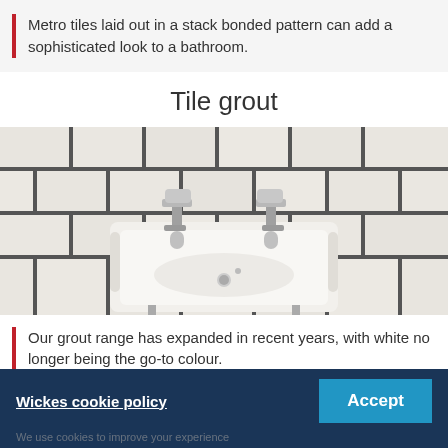Metro tiles laid out in a stack bonded pattern can add a sophisticated look to a bathroom.
Tile grout
[Figure (photo): Black and white photograph of a white ceramic bathroom sink with two chrome faucets, set against a wall of white subway tiles with dark grout lines in a stack bond pattern]
Our grout range has expanded in recent years, with white no longer being the go-to colour.
Wickes cookie policy   Accept